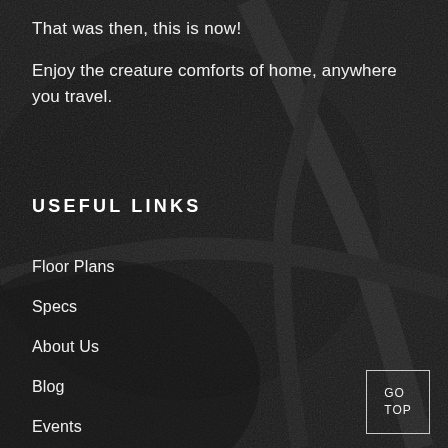That was then, this is now!
Enjoy the creature comforts of home, anywhere you travel.
USEFUL LINKS
Floor Plans
Specs
About Us
Blog
Events
Distributors
GO TOP